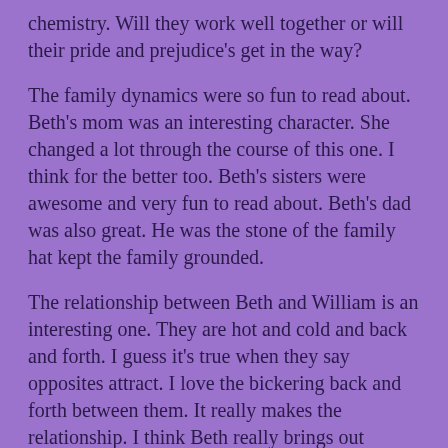chemistry. Will they work well together or will their pride and prejudice's get in the way?
The family dynamics were so fun to read about. Beth's mom was an interesting character. She changed a lot through the course of this one. I think for the better too. Beth's sisters were awesome and very fun to read about. Beth's dad was also great. He was the stone of the family hat kept the family grounded.
The relationship between Beth and William is an interesting one. They are hot and cold and back and forth. I guess it's true when they say opposites attract. I love the bickering back and forth between them. It really makes the relationship. I think Beth really brings out William's emotions and he doesn't like it. She makes him vulnerable and that is not ok with him. He has this outer exterior that he tries to keep so strong. I love how Beth broke him down and made him feel something. Those moments of weakness for him that left Beth breathless were the best. So much sexual frustration. I loved it!
I loved this book and would recommend it to anyone. It was a great and quick read. Any fan of romance and re-tellings will love